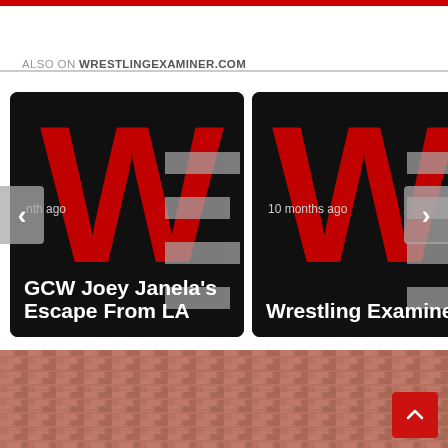ALSO ON WRESTLINGEXAMINER.COM
[Figure (screenshot): Card showing WrestlingExaminer.com logo on black background with text '...nth ago' and title 'GCW Joey Janela's Escape From LA']
[Figure (screenshot): Card showing WrestlingExaminer.com logo on black background with text '10 months ago' and title 'Wrestling Examiner']
Sponsored
[Figure (photo): Photo of a brick/tile rooftop viewed from above]